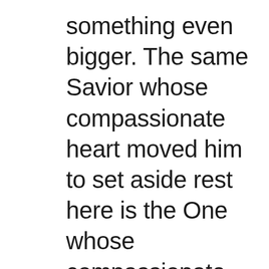something even bigger. The same Savior whose compassionate heart moved him to set aside rest here is the One whose compassionate heart moved him to set aside heaven itself in order to come and